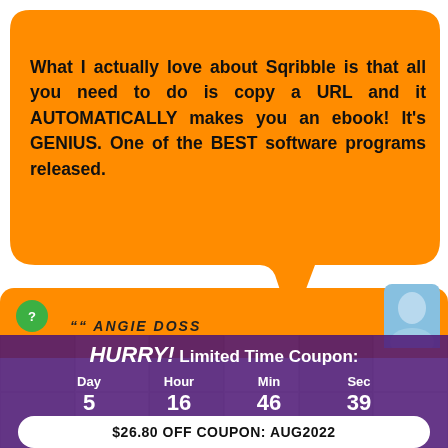What I actually love about Sqribble is that all you need to do is copy a URL and it AUTOMATICALLY makes you an ebook! It's GENIUS. One of the BEST software programs released.
ANGIE DOSS
HURRY! Limited Time Coupon:
| Day | Hour | Min | Sec |
| --- | --- | --- | --- |
| 5 | 16 | 46 | 39 |
$26.80 OFF COUPON: AUG2022